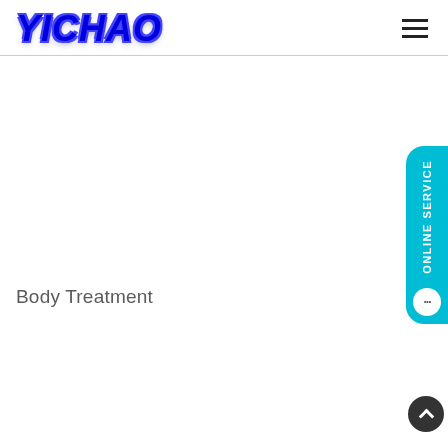YICHAO
Body Treatment
[Figure (other): ONLINE SERVICE button — cyan rounded tab on the right edge with vertical white text 'ONLINE SERVICE' and a chat bubble icon below]
[Figure (other): Scroll-to-top button — dark circular button with upward chevron arrow]